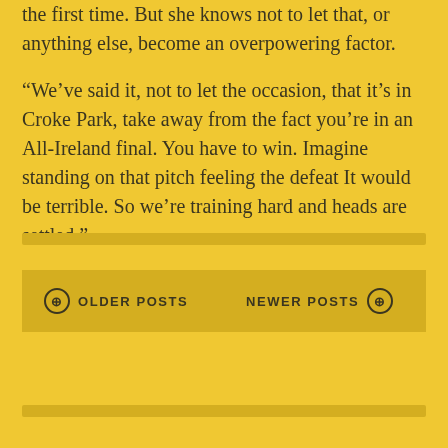the first time. But she knows not to let that, or anything else, become an overpowering factor.

“We’ve said it, not to let the occasion, that it’s in Croke Park, take away from the fact you’re in an All-Ireland final. You have to win. Imagine standing on that pitch feeling the defeat It would be terrible. So we’re training hard and heads are settled.”
OLDER POSTS
NEWER POSTS